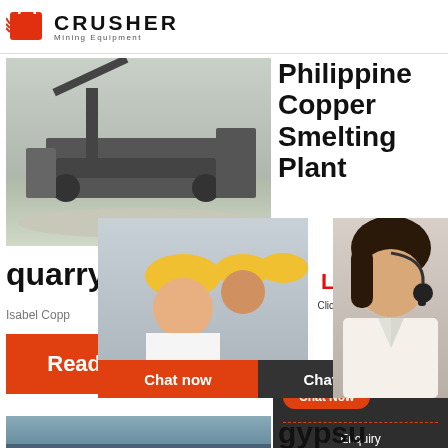[Figure (logo): Crusher Mining Equipment logo with shopping bag icon and bold CRUSHER text]
[Figure (photo): Quarry mining site with heavy machinery and conveyor belt]
Philippine Copper Smelting Plant
24Hrs Online
quarry
Isabel Copp
[Figure (photo): Live chat overlay with workers in hard hats and customer service agent with headset. Shows LIVE CHAT - Click for a Free Consultation with Chat now and Chat later buttons]
Read More
Need questions & suggestion?
Chat Now
Enquiry
limingjlmofen@sina.com
[Figure (photo): Bottom photo of sky/industrial scene]
gypsu